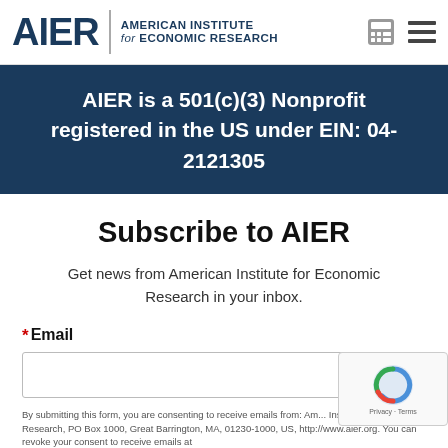AIER | AMERICAN INSTITUTE for ECONOMIC RESEARCH
AIER is a 501(c)(3) Nonprofit registered in the US under EIN: 04-2121305
Subscribe to AIER
Get news from American Institute for Economic Research in your inbox.
* Email
By submitting this form, you are consenting to receive emails from: American Institute for Economic Research, PO Box 1000, Great Barrington, MA, 01230-1000, US, http://www.aier.org. You can revoke your consent to receive emails at